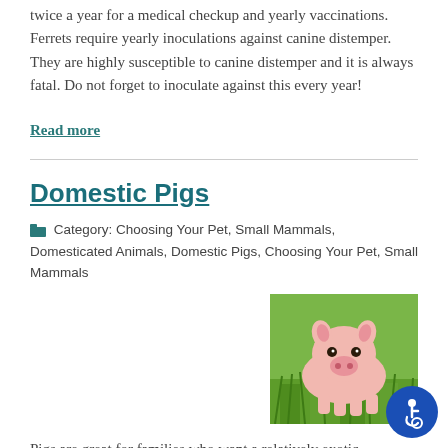twice a year for a medical checkup and yearly vaccinations. Ferrets require yearly inoculations against canine distemper. They are highly susceptible to canine distemper and it is always fatal. Do not forget to inoculate against this every year!
Read more
Domestic Pigs
Category: Choosing Your Pet, Small Mammals, Domesticated Animals, Domestic Pigs, Choosing Your Pet, Small Mammals
[Figure (photo): A small pink piglet lying in green grass, facing the camera]
Pigs are great for families who want a relatively exotic